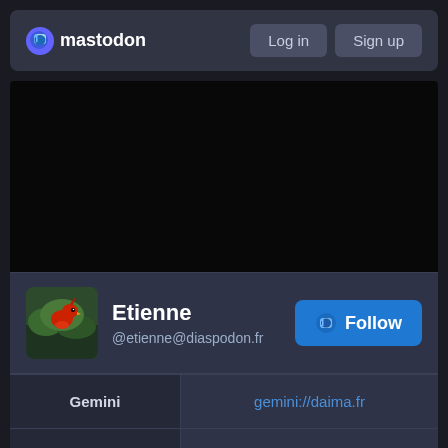mastodon   Log in   Sign up
[Figure (photo): Dark/black banner image area (profile header background)]
Etienne
@etienne@diaspodon.fr
Follow
| Field | Value |
| --- | --- |
| Gemini | gemini://daima.fr |
| XMPP | etienne@daima.fr |